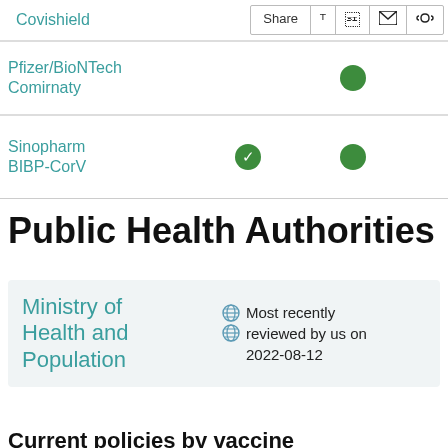| Vaccine | Col2 | Col3 |
| --- | --- | --- |
| Covishield |  |  |
| Pfizer/BioNTech Comirnaty |  | ● |
| Sinopharm BIBP-CorV | ✓ | ● |
Public Health Authorities
Ministry of Health and Population
Most recently reviewed by us on 2022-08-12
Current policies by vaccine